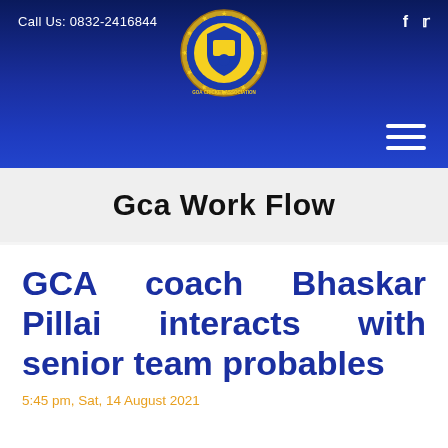Call Us: 0832-2416844
[Figure (logo): Goa Cricket Association circular badge logo with blue and gold colors, stars around the border]
Gca Work Flow
GCA coach Bhaskar Pillai interacts with senior team probables
5:45 pm, Sat, 14 August 2021